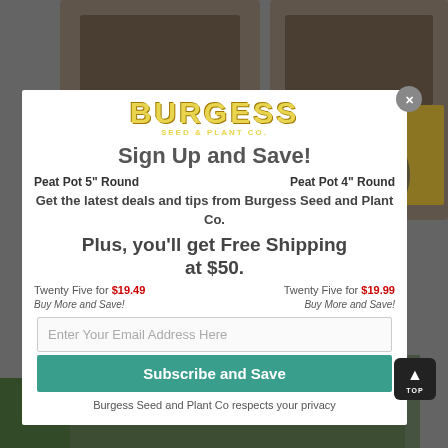[Figure (screenshot): Background product page showing peat pot products from Burgess Seed and Plant Co, with two peat pot products visible on a gray background]
Sign Up and Save!
Peat Pot 5" Round
Peat Pot 4" Round
Get the latest deals and tips from Burgess Seed and Plant Co.
Plus, you'll get Free Shipping at $50.
Twenty Five for $19.49
Twenty Five for $19.99
Buy More and Save!
Buy More and Save!
Enter Your Email Address Here
Subscribe and Save
Burgess Seed and Plant Co respects your privacy